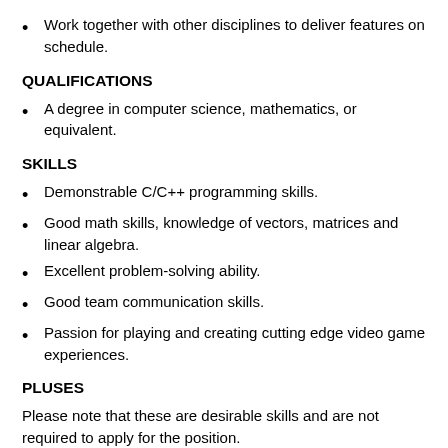Work together with other disciplines to deliver features on schedule.
QUALIFICATIONS
A degree in computer science, mathematics, or equivalent.
SKILLS
Demonstrable C/C++ programming skills.
Good math skills, knowledge of vectors, matrices and linear algebra.
Excellent problem-solving ability.
Good team communication skills.
Passion for playing and creating cutting edge video game experiences.
PLUSES
Please note that these are desirable skills and are not required to apply for the position.